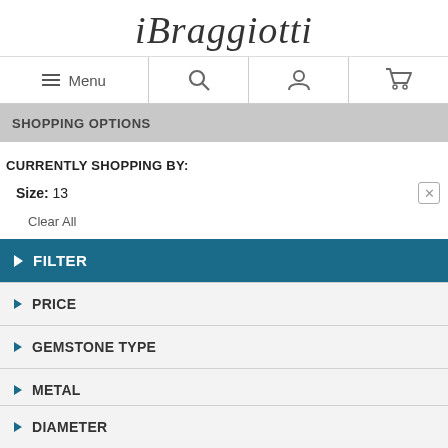[Figure (logo): iBraggiotti script logo in cursive/italic font]
Menu | Search | Account | Cart
SHOPPING OPTIONS
CURRENTLY SHOPPING BY:
Size: 13
Clear All
FILTER
PRICE
GEMSTONE TYPE
METAL
SIZE
DIAMETER